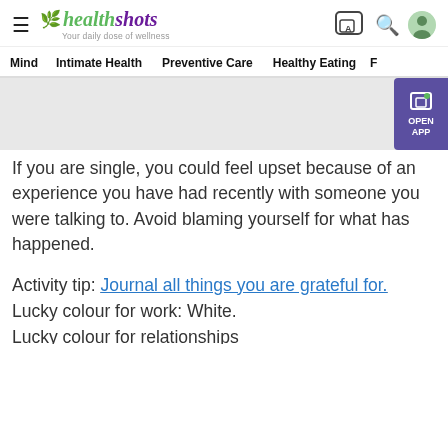healthshots — Your daily dose of wellness
Mind  Intimate Health  Preventive Care  Healthy Eating  F
[Figure (other): Gray advertisement banner placeholder]
If you are single, you could feel upset because of an experience you have had recently with someone you were talking to. Avoid blaming yourself for what has happened.
Activity tip: Journal all things you are grateful for.
Lucky colour for work: White.